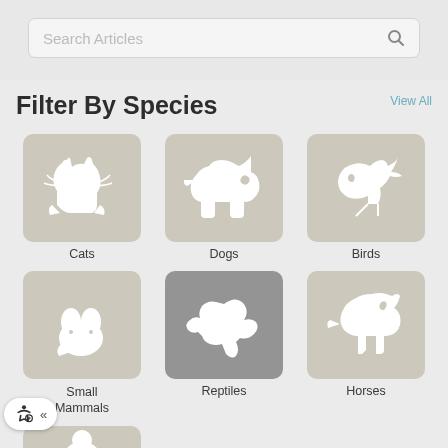[Figure (screenshot): Search Articles input box with magnifying glass icon]
View All
Filter By Species
[Figure (illustration): Grid of animal species icons: Cats, Dogs, Birds, Small Mammals, Reptiles, Horses]
[Figure (illustration): Accessibility badge with wheelchair icon and chevron]